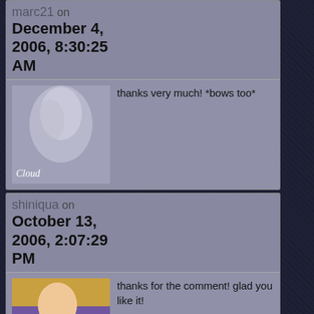marc21 on December 4, 2006, 8:30:25 AM
thanks very much! *bows too*
shiniqua on October 13, 2006, 2:07:29 PM
thanks for the comment! glad you like it!

~shiniqua
kchen on August 10, 2006, 1:54:42